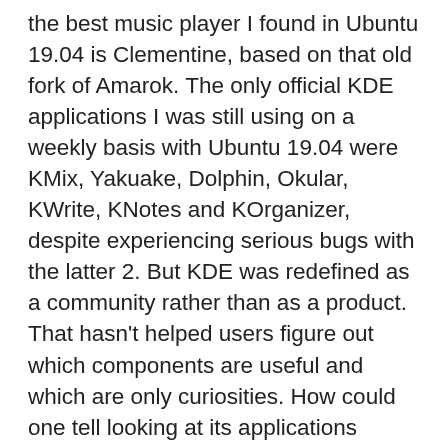the best music player I found in Ubuntu 19.04 is Clementine, based on that old fork of Amarok. The only official KDE applications I was still using on a weekly basis with Ubuntu 19.04 were KMix, Yakuake, Dolphin, Okular, KWrite, KNotes and KOrganizer, despite experiencing serious bugs with the latter 2. But KDE was redefined as a community rather than as a product. That hasn't helped users figure out which components are useful and which are only curiosities. How could one tell looking at its applications which one of Dragon Player, Kaffeine or KMPlayer is best for playing videos? Unless distributions help, how could one tell that in fact, neither Elisa nor JuK is the right choice to play music? How can a user tell a mature application like KPatience apart